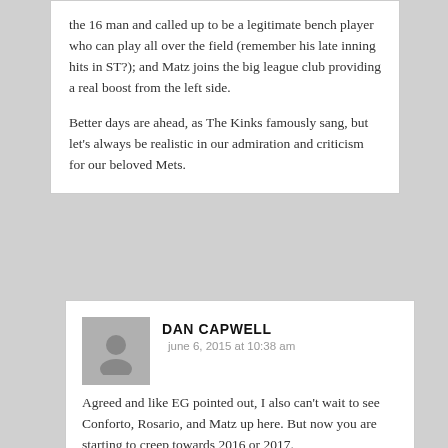the 16 man and called up to be a legitimate bench player who can play all over the field (remember his late inning hits in ST?); and Matz joins the big league club providing a real boost from the left side.

Better days are ahead, as The Kinks famously sang, but let's always be realistic in our admiration and criticism for our beloved Mets.
DAN CAPWELL
june 6, 2015 at 10:38 am
Agreed and like EG pointed out, I also can't wait to see Conforto, Rosario, and Matz up here. But now you are starting to creep towards 2016 or 2017.